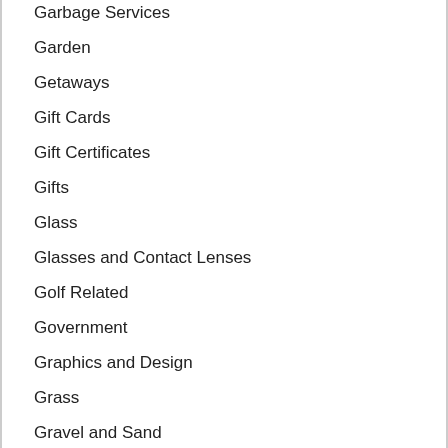Garbage Services
Garden
Getaways
Gift Cards
Gift Certificates
Gifts
Glass
Glasses and Contact Lenses
Golf Related
Government
Graphics and Design
Grass
Gravel and Sand
Grocery Stores
Gutter Cleaning
Gutter Repair